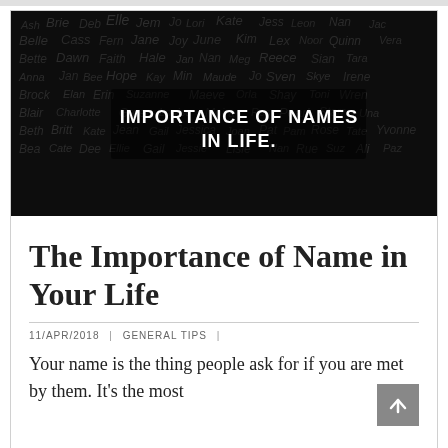[Figure (illustration): Black background word cloud of female names (Ash, Brie, Belle, Cass, Fern, Jane, Joy, June, Lex, Nan, Bette, Dawn, Faith, Hale, Meg, Reece, Sian, Anna, Hope, Kay, Maude, Sven, Brock, Elan, Erin, Maeve, Blair, Charlotte, Greer, Pearl, Starr, Beth, Britt, Jean, Gail, Jessica, Joan, Pat, Rose, Tate, Yvonne, Bea, Dee, Jessie, Lisle, etc.) with bold white centered text overlay reading 'IMPORTANCE OF NAMES IN LIFE.']
The Importance of Name in Your Life
11/APR/2018 | GENERAL TIPS |
Your name is the thing people ask for if you are met by them. It's the most